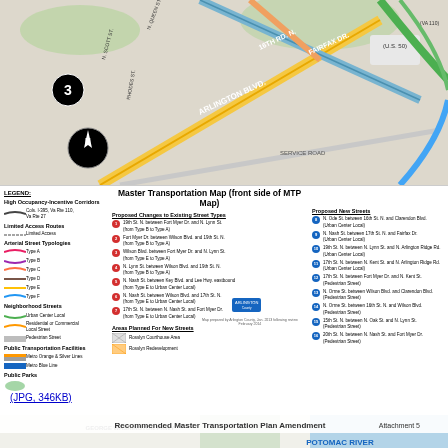[Figure (map): Street-level map showing Arlington area road network with numbered corridors, route 3 highlighted, featuring streets including Arlington Blvd, Fairfax Dr, 16th Rd N, Service Road. Compass rose with N indicator in lower left corner.]
[Figure (map): Legend and key for Master Transportation Map (front side of MTP Map) showing High Occupancy-Incentive Corridors, Limited Access Routes, Arterial Street Typologies (Type A through F), Neighborhood Streets, Public Transportation Facilities (Metro Orange & Silver Lines, Metro Blue Line), Public Parks, Federal Land, Proposed Changes to Existing Street Types (numbered 1-7), Proposed New Streets (numbered 8-16), and Areas Planned for New Streets including Rosslyn Courthouse Area and Rosslyn Redevelopment.]
(JPG, 346KB)
[Figure (map): Recommended Master Transportation Plan Amendment Attachment 5 map showing Rosslyn area with George Washington Pkwy, Potomac River, Roosevelt Island, 22nd St N, Lee Hwy, Interstate 66, Key Blvd, 19th St N, Wilson Blvd, N Nash St, N Fort Myer Dr, N Lynn St, Arlington Blvd. Contains numbered markers 1, 2, 8, 16 and other route indicators. Green and red dashed street lines shown.]